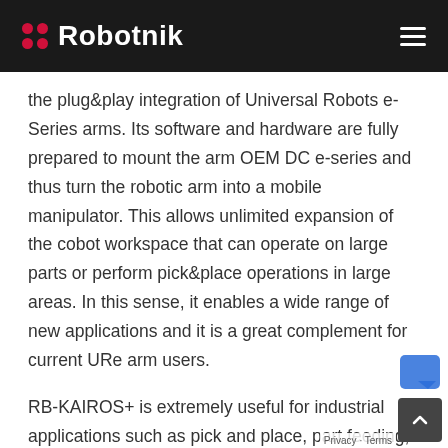Robotnik
the plug&play integration of Universal Robots e-Series arms. Its software and hardware are fully prepared to mount the arm OEM DC e-series and thus turn the robotic arm into a mobile manipulator. This allows unlimited expansion of the cobot workspace that can operate on large parts or perform pick&place operations in large areas. In this sense, it enables a wide range of new applications and it is a great complement for current URe arm users.
RB-KAIROS+ is extremely useful for industrial applications such as pick and place, part feeding, metrology, quality control, operations on large parts or packaging, cleaning, polishing, screwing, drilling,